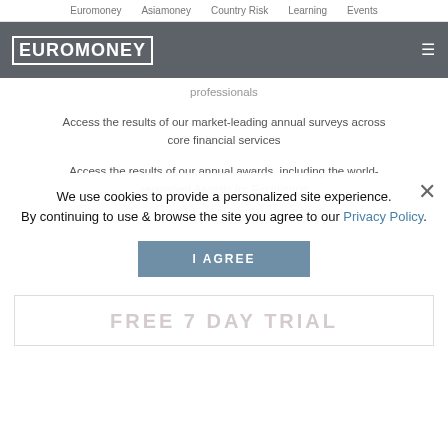Euromoney   Asiamoney   Country Risk   Learning   Events
[Figure (logo): Euromoney logo in white block letters on dark grey navigation bar with hamburger menu icon]
professionals
Access the results of our market-leading annual surveys across core financial services
Access the results of our annual awards, including the world-renowned Awards for Excellence
Your print copy of Euromoney magazine delivered monthly
We use cookies to provide a personalized site experience.
By continuing to use & browse the site you agree to our Privacy Policy.
I AGREE
FREE 7 DAY TRIAL